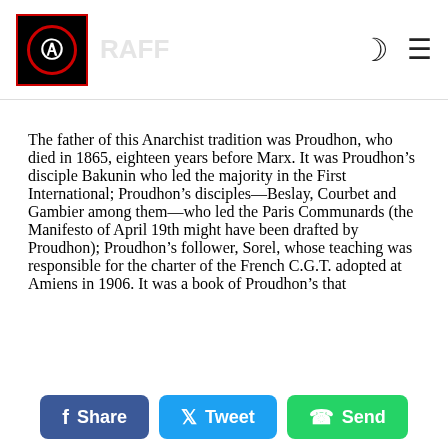RAFF logo with moon and hamburger menu icons
The father of this Anarchist tradition was Proudhon, who died in 1865, eighteen years before Marx. It was Proudhon's disciple Bakunin who led the majority in the First International; Proudhon's disciples—Beslay, Courbet and Gambier among them—who led the Paris Communards (the Manifesto of April 19th might have been drafted by Proudhon); Proudhon's follower, Sorel, whose teaching was responsible for the charter of the French C.G.T. adopted at Amiens in 1906. It was a book of Proudhon's that
Share  Tweet  Send